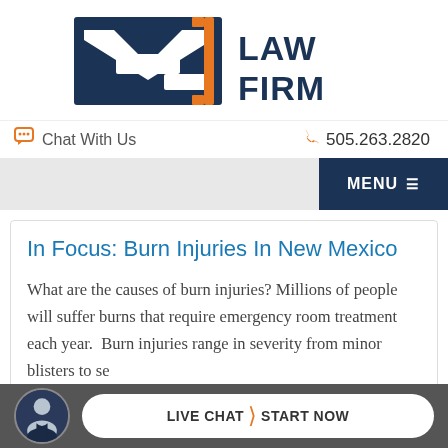[Figure (logo): MPJ Law Firm logo — dark teal geometric M/P/J lettermark icon with orange bracket accent, followed by 'LAW FIRM' text in dark teal]
Chat With Us    505.263.2820
MENU
In Focus: Burn Injuries In New Mexico
What are the causes of burn injuries? Millions of people will suffer burns that require emergency room treatment each year.  Burn injuries range in severity from minor blisters to se...
LIVE CHAT  START NOW